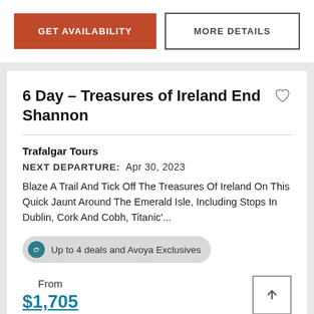GET AVAILABILITY
MORE DETAILS
6 Day – Treasures of Ireland End Shannon
Trafalgar Tours
NEXT DEPARTURE: Apr 30, 2023
Blaze A Trail And Tick Off The Treasures Of Ireland On This Quick Jaunt Around The Emerald Isle, Including Stops In Dublin, Cork And Cobh, Titanic'...
Up to 4 deals and Avoya Exclusives
From $1,705